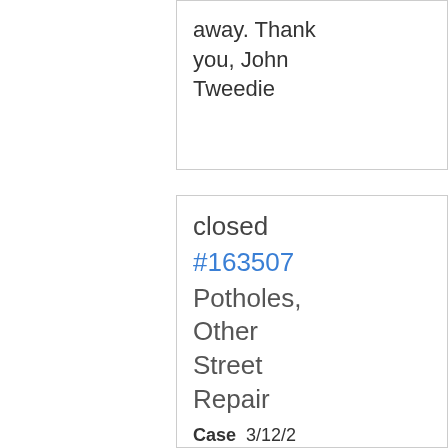away. Thank you, John Tweedie
closed #163507 Potholes, Other Street Repair
Case Date: 3/12/2...
First of all, thank you for filling in all the potholes I have mentioned to you over the